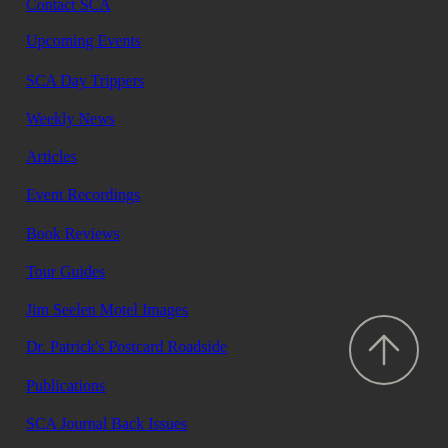Contact SCA
Upcoming Events
SCA Day Trippers
Weekly News
Articles
Event Recordings
Book Reviews
Tour Guides
Jim Seelen Motel Images
Dr. Patrick's Postcard Roadside
Publications
SCA Journal Back Issues
[Figure (illustration): Circular scroll-to-top button with an upward arrow icon]